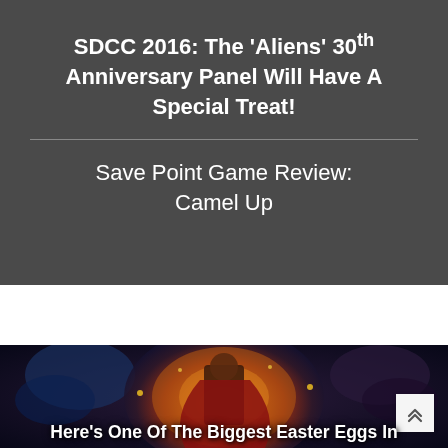SDCC 2016: The ‘Aliens’ 30th Anniversary Panel Will Have A Special Treat!
Save Point Game Review: Camel Up
[Figure (photo): Promotional movie poster image showing a superhero figure in a red cape surrounded by a dramatic glowing circular energy ring with blue and orange cosmic effects]
Here’s One Of The Biggest Easter Eggs In